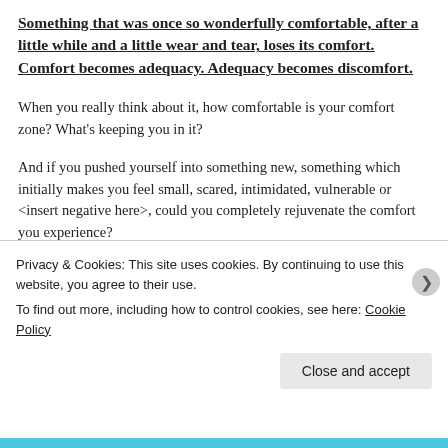Something that was once so wonderfully comfortable, after a little while and a little wear and tear, loses its comfort. Comfort becomes adequacy. Adequacy becomes discomfort.
When you really think about it, how comfortable is your comfort zone? What's keeping you in it?
And if you pushed yourself into something new, something which initially makes you feel small, scared, intimidated, vulnerable or <insert negative here>, could you completely rejuvenate the comfort you experience?
Privacy & Cookies: This site uses cookies. By continuing to use this website, you agree to their use.
To find out more, including how to control cookies, see here: Cookie Policy
Close and accept